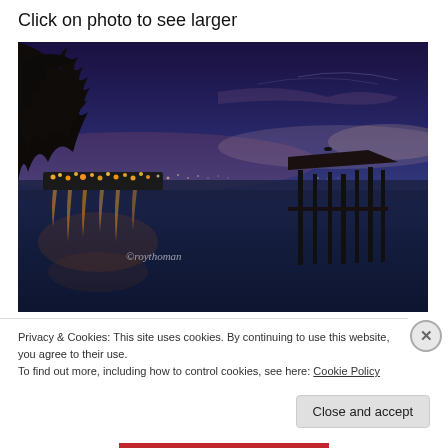Click on photo to see larger
[Figure (photo): Night/dusk waterfront scene with city lights in the background, a silhouetted pier/dock structure on the right, tree silhouette upper left, calm reflective water, purple-blue twilight sky. Watermark reads 'roythoman'.]
Privacy & Cookies: This site uses cookies. By continuing to use this website, you agree to their use.
To find out more, including how to control cookies, see here: Cookie Policy
Close and accept